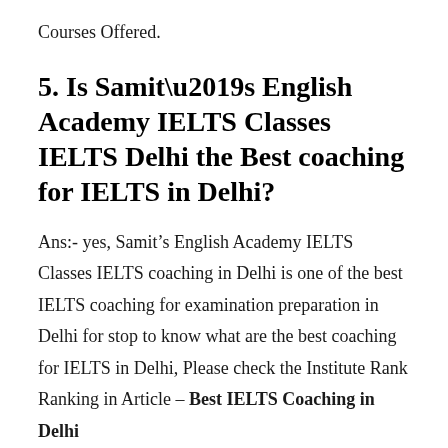Courses Offered.
5. Is Samit’s English Academy IELTS Classes IELTS Delhi the Best coaching for IELTS in Delhi?
Ans:- yes, Samit’s English Academy IELTS Classes IELTS coaching in Delhi is one of the best IELTS coaching for examination preparation in Delhi for stop to know what are the best coaching for IELTS in Delhi, Please check the Institute Rank Ranking in Article – Best IELTS Coaching in Delhi
6. How Far is the Samit’s English